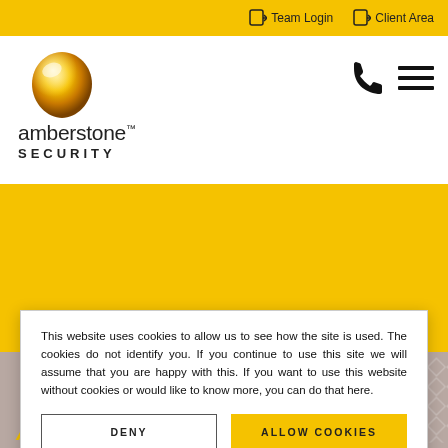→ Team Login  → Client Area
[Figure (logo): Amberstone Security logo with amber gem shape above text 'amberstone™ SECURITY']
[Figure (illustration): Yellow hero banner section (blank)]
This website uses cookies to allow us to see how the site is used. The cookies do not identify you. If you continue to use this site we will assume that you are happy with this. If you want to use this website without cookies or would like to know more, you can do that here.
DENY    ALLOW COOKIES
As expectation builds for a